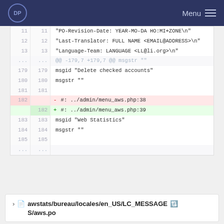DP  Menu
[Figure (screenshot): Code diff view showing lines 11-185 of a .po file with additions and deletions. Line 182 is deleted (- #: ../admin/menu_aws.php:38) and line 182 added (+ #: ../admin/menu_aws.php:39). Other lines include PO header fields, msgid/msgstr entries.]
awstats/bureau/locales/en_US/LC_MESSAGES/aws.po